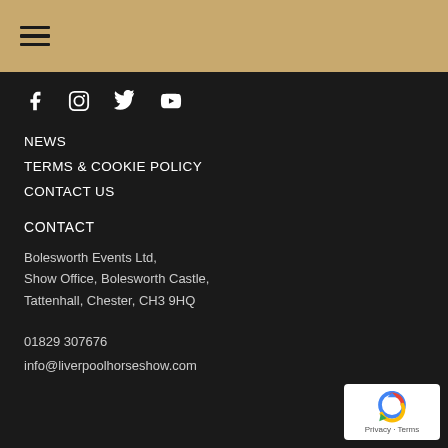≡ (hamburger menu icon)
[Figure (illustration): Social media icons: Facebook, Instagram, Twitter, YouTube — white icons on dark background]
NEWS
TERMS & COOKIE POLICY
CONTACT US
CONTACT
Bolesworth Events Ltd,
Show Office, Bolesworth Castle,
Tattenhall, Chester, CH3 9HQ
01829 307676
info@liverpoolhorseshow.com
[Figure (logo): reCAPTCHA badge with Google logo, showing 'Privacy - Terms' text]